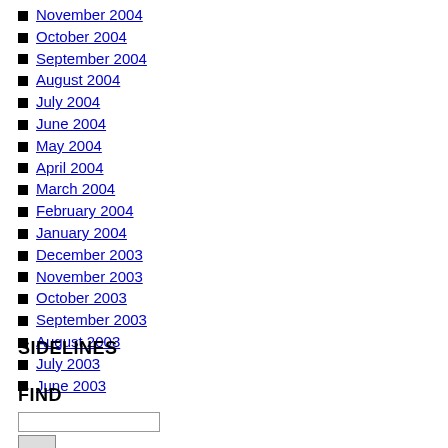November 2004
October 2004
September 2004
August 2004
July 2004
June 2004
May 2004
April 2004
March 2004
February 2004
January 2004
December 2003
November 2003
October 2003
September 2003
August 2003
July 2003
June 2003
SIDELINES
FIND